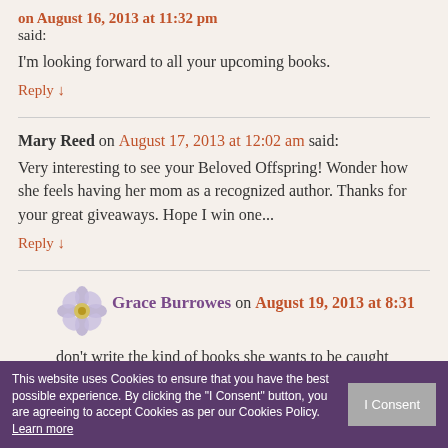said:
I'm looking forward to all your upcoming books.
Reply ↓
Mary Reed on August 17, 2013 at 12:02 am said:
Very interesting to see your Beloved Offspring! Wonder how she feels having her mom as a recognized author. Thanks for your great giveaways. Hope I win one...
Reply ↓
[Figure (illustration): Small purple flower avatar icon for Grace Burrowes]
Grace Burrowes on August 19, 2013 at 8:31
don't write the kind of books she wants to be caught
This website uses Cookies to ensure that you have the best possible experience. By clicking the "I Consent" button, you are agreeing to accept Cookies as per our Cookies Policy. Learn more